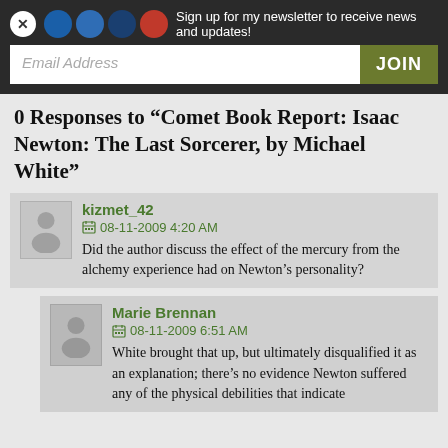Sign up for my newsletter to receive news and updates!
0 Responses to “Comet Book Report: Isaac Newton: The Last Sorcerer, by Michael White”
kizmet_42
08-11-2009 4:20 AM
Did the author discuss the effect of the mercury from the alchemy experience had on Newton’s personality?
Marie Brennan
08-11-2009 6:51 AM
White brought that up, but ultimately disqualified it as an explanation; there’s no evidence Newton suffered any of the physical debilities that indicate